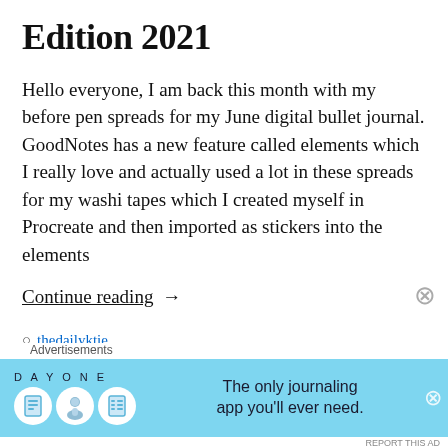Edition 2021
Hello everyone, I am back this month with my before pen spreads for my June digital bullet journal. GoodNotes has a new feature called elements which I really love and actually used a lot in these spreads for my washi tapes which I created myself in Procreate and then imported as stickers into the elements
Continue reading →
♟ thedailyktie
31 ThuEurope/London2021-06-
Advertisements
[Figure (other): Day One journaling app advertisement banner with sky blue background, DAY ONE logo, three circular icons (notebook, person, list), and text 'The only journaling app you'll ever need.']